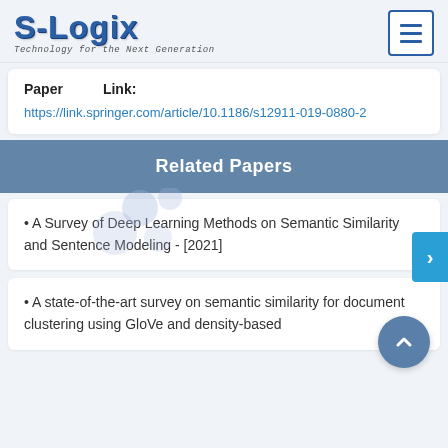S-Logix — Technology for the Next Generation
| Paper | Link: |
| --- | --- |
| https://link.springer.com/article/10.1186/s12911-019-0880-2 |  |
Related Papers
• A Survey of Deep Learning Methods on Semantic Similarity and Sentence Modeling - [2021]
• A state-of-the-art survey on semantic similarity for document clustering using GloVe and density-based